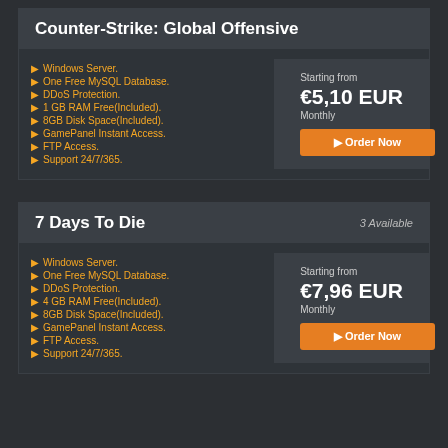Counter-Strike: Global Offensive
Windows Server.
One Free MySQL Database.
DDoS Protection.
1 GB RAM Free(Included).
8GB Disk Space(Included).
GamePanel Instant Access.
FTP Access.
Support 24/7/365.
Starting from €5,10 EUR Monthly
7 Days To Die
3 Available
Windows Server.
One Free MySQL Database.
DDoS Protection.
4 GB RAM Free(Included).
8GB Disk Space(Included).
GamePanel Instant Access.
FTP Access.
Support 24/7/365.
Starting from €7,96 EUR Monthly